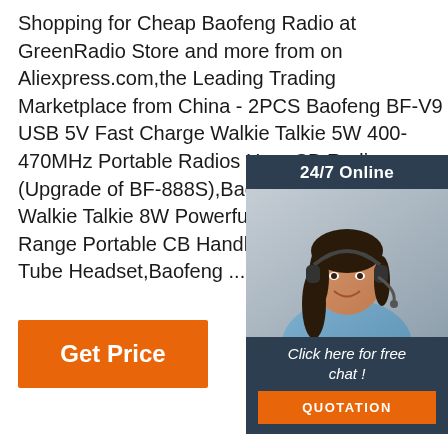Shopping for Cheap Baofeng Radio at GreenRadio Store and more from on Aliexpress.com,the Leading Trading Marketplace from China - 2PCS Baofeng BF-V9 USB 5V Fast Charge Walkie Talkie 5W 400-470MHz Portable Radios Ham CB Radio (Upgrade of BF-888S),Baofeng UV-82 Plus Walkie Talkie 8W Powerful VHF UHF 10 Mile Range Portable CB Handheld BF-UV82-Plus Air Tube Headset,Baofeng ...
[Figure (other): Live chat widget with a woman wearing a headset. Header reads '24/7 Online', body shows a photo of a woman with dark hair wearing a wireless headset, footer has 'Click here for free chat!' text and an orange 'QUOTATION' button.]
[Figure (other): Orange 'Get Price' button]
[Figure (other): TOP icon with orange dots arranged in triangle and 'TOP' text below]